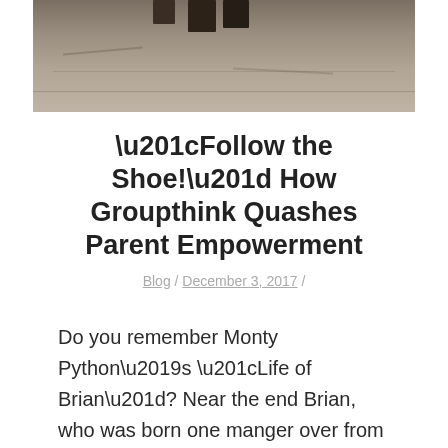[Figure (photo): Partial photo showing feet/boots standing on sandy/dirt ground, cropped at top of page]
“Follow the Shoe!” How Groupthink Quashes Parent Empowerment
Blog / December 3, 2017 /
Do you remember Monty Python’s “Life of Brian”? Near the end Brian, who was born one manger over from the messiah, is attempting to evade some marauding Romans. But his flight is impeded by a throng of would-be disciples.